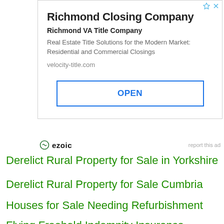[Figure (other): Advertisement box for Richmond Closing Company with title, subtitle, description, URL, and OPEN button]
ezoic   report this ad
Derelict Rural Property for Sale in Yorkshire
Derelict Rural Property for Sale Cumbria
Houses for Sale Needing Refurbishment
Flying Freehold Indemnity Insurance